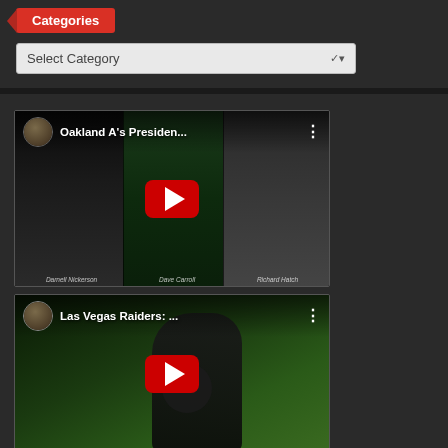Categories
[Figure (screenshot): Dropdown selector labeled 'Select Category' with chevron]
[Figure (screenshot): YouTube video thumbnail: Oakland A's Presiden... with three people on video call]
[Figure (screenshot): YouTube video thumbnail: Las Vegas Raiders: ... with football player]